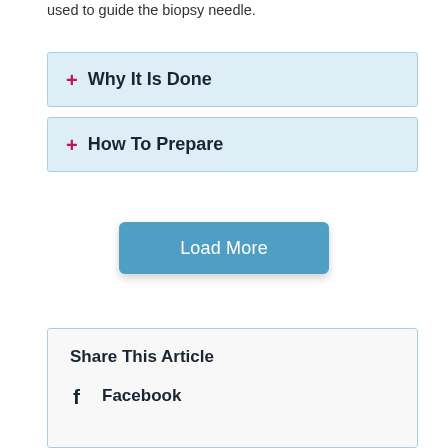used to guide the biopsy needle.
+ Why It Is Done
+ How To Prepare
Load More
Share This Article
Facebook